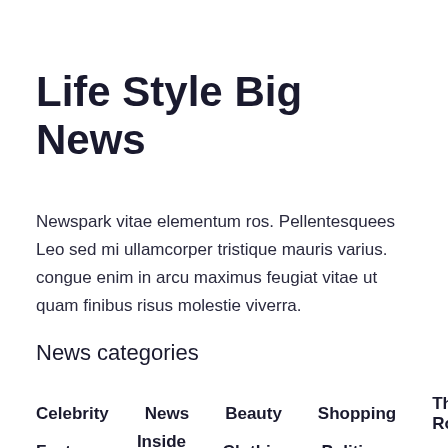Life Style Big News
Newspark vitae elementum ros. Pellentesquees Leo sed mi ullamcorper tristique mauris varius. congue enim in arcu maximus feugiat vitae ut quam finibus risus molestie viverra.
News categories
Celebrity
News
Beauty
Shopping
The Royals
Features
Inside InStyle
Clothing
Politics